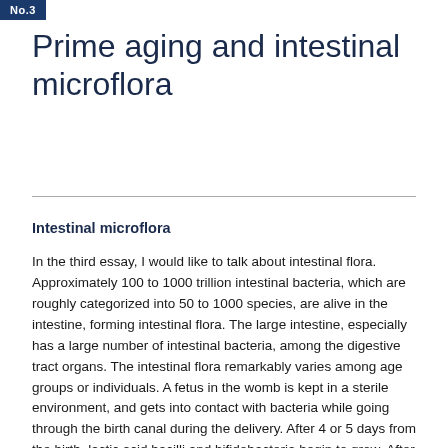No.3
Prime aging and intestinal microflora
Intestinal microflora
In the third essay, I would like to talk about intestinal flora. Approximately 100 to 1000 trillion intestinal bacteria, which are roughly categorized into 50 to 1000 species, are alive in the intestine, forming intestinal flora. The large intestine, especially has a large number of intestinal bacteria, among the digestive tract organs. The intestinal flora remarkably varies among age groups or individuals. A fetus in the womb is kept in a sterile environment, and gets into contact with bacteria while going through the birth canal during the delivery. After 4 or 5 days from the birth, lactic acid bacilli and bifidobacteria begin to grow. After their middle ages, their numbers turn to decrease, and Clostridium perfringens instead